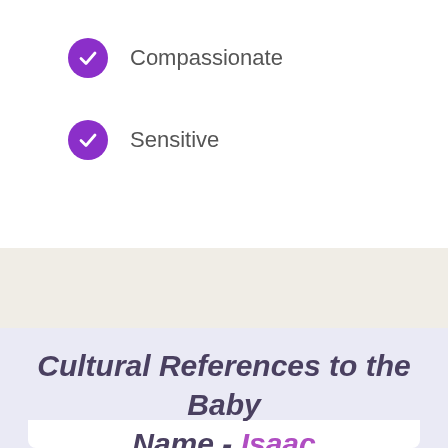Compassionate
Sensitive
Cultural References to the Baby Name - Isaac